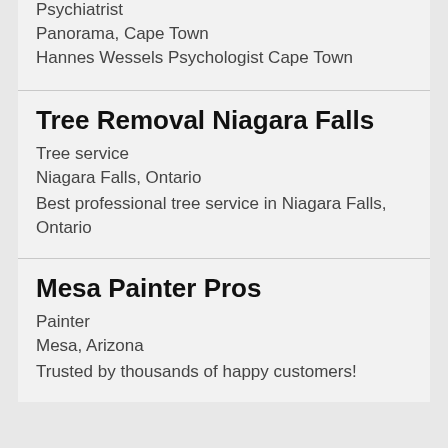Psychiatrist
Panorama, Cape Town
Hannes Wessels Psychologist Cape Town
Tree Removal Niagara Falls
Tree service
Niagara Falls, Ontario
Best professional tree service in Niagara Falls, Ontario
Mesa Painter Pros
Painter
Mesa, Arizona
Trusted by thousands of happy customers!